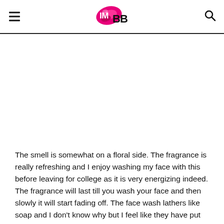IMBB
The smell is somewhat on a floral side. The fragrance is really refreshing and I enjoy washing my face with this before leaving for college as it is very energizing indeed. The fragrance will last till you wash your face and then slowly it will start fading off. The face wash lathers like soap and I don't know why but I feel like they have put soap in the face wash too. It is a pure cleaning face wash which helps to remove impurities and does nothing